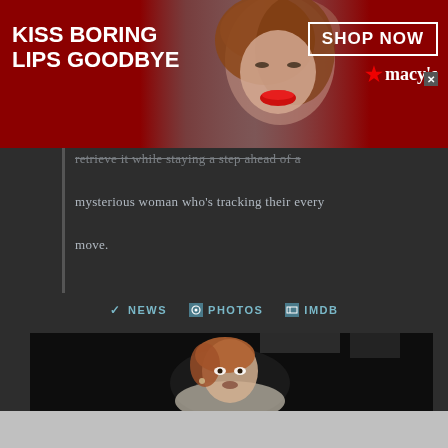[Figure (photo): Macy's advertisement banner: 'KISS BORING LIPS GOODBYE' with model photo and SHOP NOW button with Macy's star logo]
retrieve it while staying a step ahead of a mysterious woman who's tracking their every move.
✓ NEWS  📷 PHOTOS  ⊟ IMDB
[Figure (photo): Movie still showing a woman with reddish hair looking alarmed, in a dark scene wearing a light-colored shirt]
[Figure (photo): Advertisement: 'Top Junior Gold Mining Stock' - Get access to the next Top mining "Micro Cap" here! EXPLORE NOW]